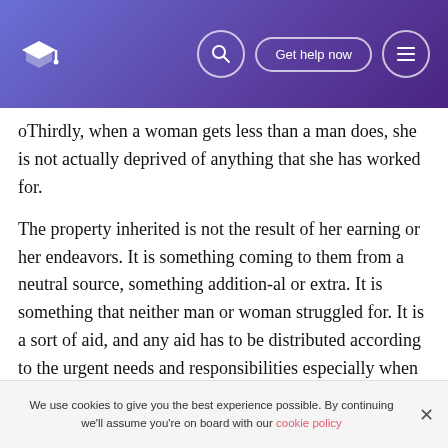Get help now
oThirdly, when a woman gets less than a man does, she is not actually deprived of anything that she has worked for.
The property inherited is not the result of her earning or her endeavors. It is something coming to them from a neutral source, something addition-al or extra. It is something that neither man or woman struggled for. It is a sort of aid, and any aid has to be distributed according to the urgent needs and responsibilities especially when the distribution is regulated by the Law of God.
oNow, we have a male heir, on one side, burdened with all
We use cookies to give you the best experience possible. By continuing we'll assume you're on board with our cookie policy